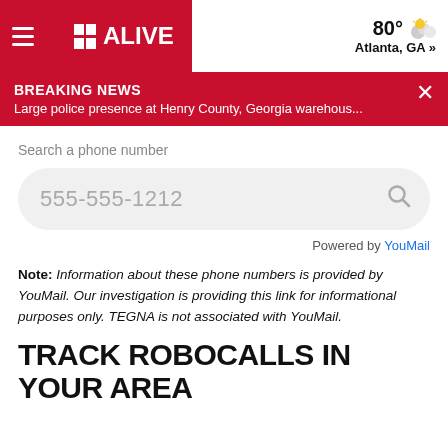11 ALIVE | 80° Atlanta, GA »
BREAKING NEWS
Large police presence at Henry County, Georgia warehous...
Search a phone number
555-555-1212
Powered by YouMail
Note: Information about these phone numbers is provided by YouMail. Our investigation is providing this link for informational purposes only. TEGNA is not associated with YouMail.
TRACK ROBOCALLS IN YOUR AREA